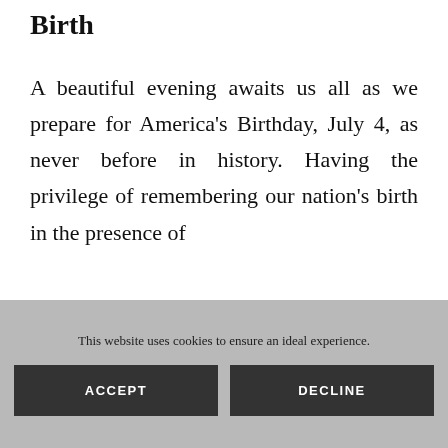Birth
A beautiful evening awaits us all as we prepare for America’s Birthday, July 4, as never before in history. Having the privilege of remembering our nation’s birth in the presence of
This website uses cookies to ensure an ideal experience.
ACCEPT
DECLINE